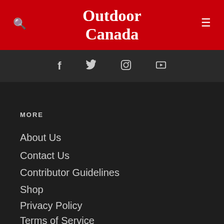Outdoor Canada
[Figure (logo): Outdoor Canada magazine logo in white serif text on red background]
[Figure (infographic): Social media icons: Facebook, Twitter, Instagram, YouTube on dark bar]
MORE
About Us
Contact Us
Contributor Guidelines
Shop
Privacy Policy
Terms of Service